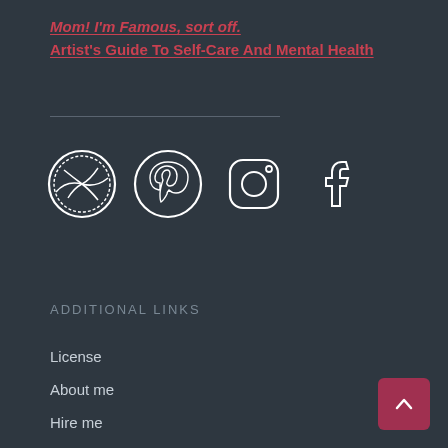Mom! I'm Famous, sort off.
Artist's Guide To Self-Care And Mental Health
[Figure (illustration): Four social media icons in sketch/hand-drawn white style on dark background: Dribbble, Pinterest, Instagram, Facebook]
ADDITIONAL LINKS
License
About me
Hire me
Blog
Privacy Policy